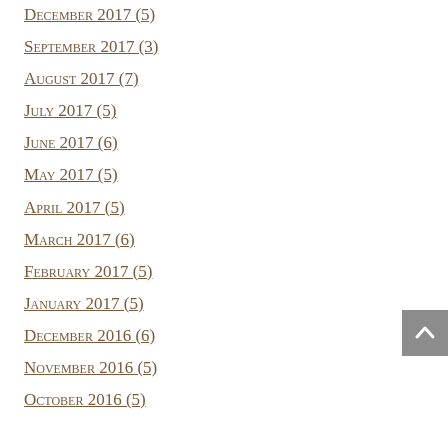December 2017 (5)
September 2017 (3)
August 2017 (7)
July 2017 (5)
June 2017 (6)
May 2017 (5)
April 2017 (5)
March 2017 (6)
February 2017 (5)
January 2017 (5)
December 2016 (6)
November 2016 (5)
October 2016 (5)